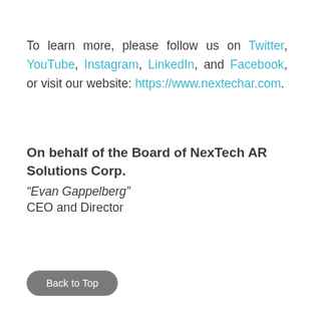To learn more, please follow us on Twitter, YouTube, Instagram, LinkedIn, and Facebook, or visit our website: https://www.nextechar.com.
On behalf of the Board of NexTech AR Solutions Corp.
"Evan Gappelberg"
CEO and Director
Back to Top